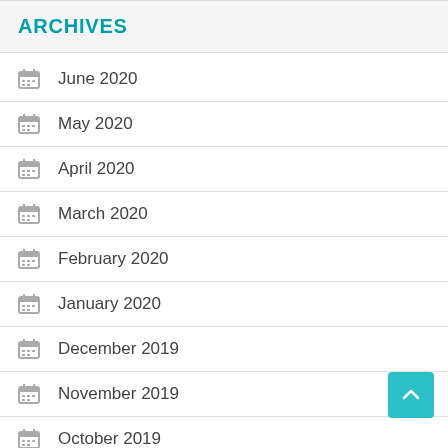ARCHIVES
June 2020
May 2020
April 2020
March 2020
February 2020
January 2020
December 2019
November 2019
October 2019
September 2019